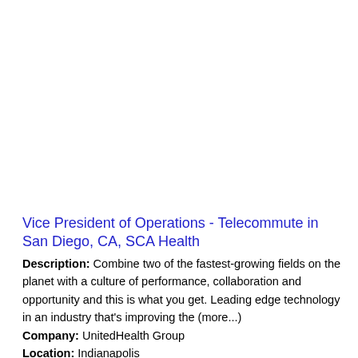Vice President of Operations - Telecommute in San Diego, CA, SCA Health
Description: Combine two of the fastest-growing fields on the planet with a culture of performance, collaboration and opportunity and this is what you get. Leading edge technology in an industry that's improving the (more...)
Company: UnitedHealth Group
Location: Indianapolis
Posted on: 2022-08-20
Movement Disorders Neurologist position with IU Health